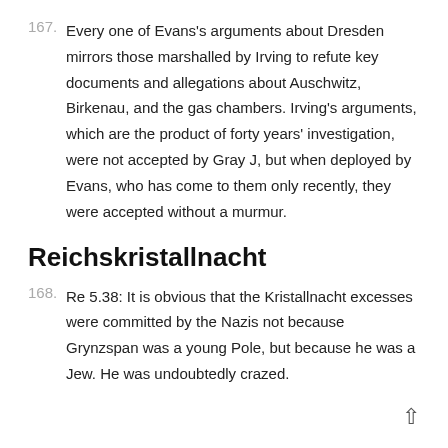167.  Every one of Evans's arguments about Dresden mirrors those marshalled by Irving to refute key documents and allegations about Auschwitz, Birkenau, and the gas chambers. Irving's arguments, which are the product of forty years' investigation, were not accepted by Gray J, but when deployed by Evans, who has come to them only recently, they were accepted without a murmur.
Reichskristallnacht
168.  Re 5.38: It is obvious that the Kristallnacht excesses were committed by the Nazis not because Grynzspan was a young Pole, but because he was a Jew. He was undoubtedly crazed.